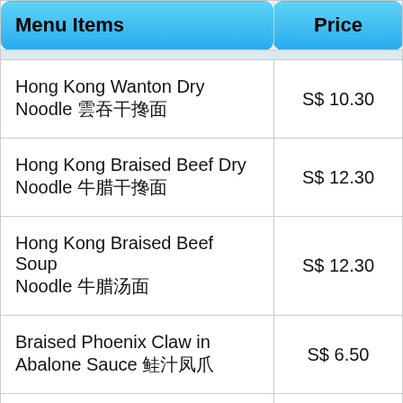| Menu Items | Price |
| --- | --- |
| Hong Kong Wanton Dry Noodle 云吞干捞面 | S$ 10.30 |
| Hong Kong Braised Beef Dry Noodle 牛腩干捞面 | S$ 12.30 |
| Hong Kong Braised Beef Soup Noodle 牛腩汤面 | S$ 12.30 |
| Braised Phoenix Claw in Abalone Sauce 鲍汁凤爪 | S$ 6.50 |
| Poached Fresh Lettuce 炒生菜 | S$ 7.50 |